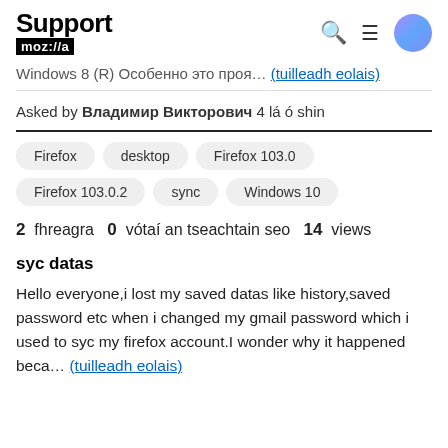Support mozilla// (with search, menu, user icons)
Windows 8 (R) Особенно это прoя... (tuilleadh eolais)
Asked by Владимир Викторович 4 lá ó shin
Firefox
desktop
Firefox 103.0
Firefox 103.0.2
sync
Windows 10
2 fhreagra  0  vótaí an tseachtain seo  14  views
syc datas
Hello everyone,i lost my saved datas like history,saved password etc when i changed my gmail password which i used to syc my firefox account.I wonder why it happened beca... (tuilleadh eolais)